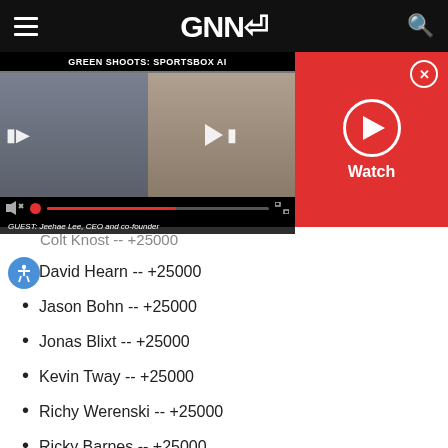GNN
[Figure (screenshot): GNN video player showing 'GREEN SHOOTS: SPORTSBOX AI' with two video thumbnails, play controls, and a red Watch panel with play button and close button. Caption reads: GUEST: Jeehae Lee, CEO and co-founder]
Colt Knost -- +25000
David Hearn -- +25000
Jason Bohn -- +25000
Jonas Blixt -- +25000
Kevin Tway -- +25000
Richy Werenski -- +25000
Ricky Barnes -- +25000
Ryan Brehm -- +25000